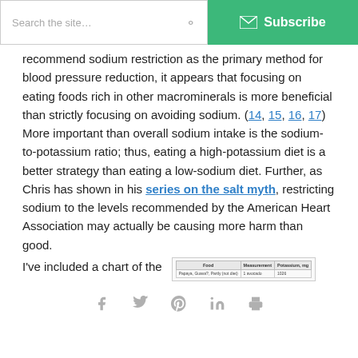Search the site... | Subscribe
recommend sodium restriction as the primary method for blood pressure reduction, it appears that focusing on eating foods rich in other macrominerals is more beneficial than strictly focusing on avoiding sodium. (14, 15, 16, 17) More important than overall sodium intake is the sodium-to-potassium ratio; thus, eating a high-potassium diet is a better strategy than eating a low-sodium diet. Further, as Chris has shown in his series on the salt myth, restricting sodium to the levels recommended by the American Heart Association may actually be causing more harm than good.
I've included a chart of the
| Food | Measurement | Potassium, mg |
| --- | --- | --- |
| Papaya, Guava?, Partly (not diet) | 1 avocado | 1026 |
Social share icons: Facebook, Twitter, Pinterest, LinkedIn, Print